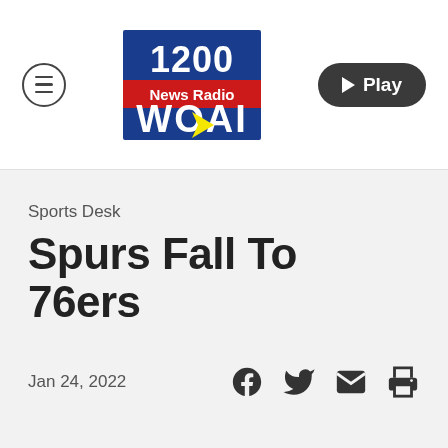1200 News Radio WOAI
Sports Desk
Spurs Fall To 76ers
Jan 24, 2022